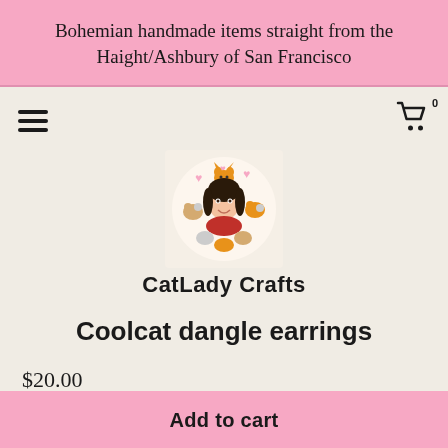Bohemian handmade items straight from the Haight/Ashbury of San Francisco
[Figure (logo): CatLady Crafts logo: illustrated woman surrounded by cats with hearts]
CatLady Crafts
Coolcat dangle earrings
$20.00
Shipping to United States: Free
Add to cart